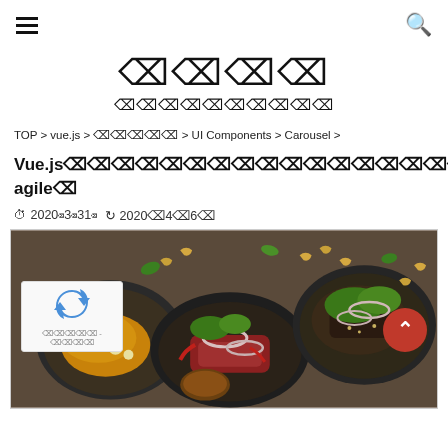☰  (hamburger menu) and 🔍 (search icon)
⬚⬚⬚⬚ ⬚⬚⬚⬚⬚⬚⬚⬚⬚⬚
TOP > vue.js > ⬚⬚⬚⬚⬚ > UI Components > Carousel >
Vue.js⬚⬚⬚⬚⬚⬚⬚⬚⬚⬚⬚⬚⬚⬚⬚⬚⬚⬚⬚⬚⬚vue-agile⬚
⊙ 2020⬚3⬚31⬚ ↺ 2020⬚4⬚6⬚
[Figure (photo): Three plates of food dishes on a dark wooden table — includes grilled/fried meat with garnishes, herbs, onion rings, nuts (cashews), and a bowl of dipping sauce]